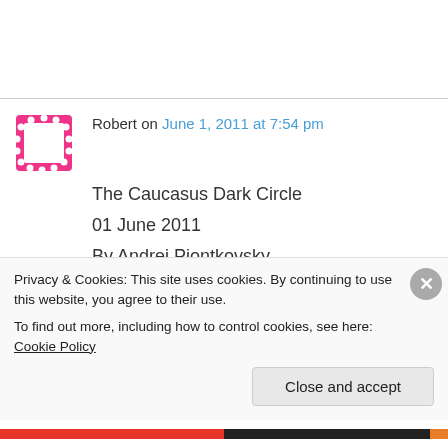Robert on June 1, 2011 at 7:54 pm
The Caucasus Dark Circle
01 June 2011
By Andrei Piontkovsky
http://www.themoscowtimes.com/opinion/article/the-caucasus-dark-circle/437914.html
Privacy & Cookies: This site uses cookies. By continuing to use this website, you agree to their use.
To find out more, including how to control cookies, see here: Cookie Policy